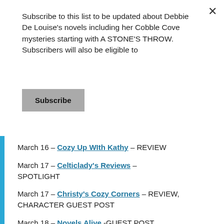Subscribe to this list to be updated about Debbie De Louise's novels including her Cobble Cove mysteries starting with A STONE'S THROW. Subscribers will also be eligible to
Subscribe
March 16 – Cozy Up WIth Kathy – REVIEW
March 17 – Celticlady's Reviews – SPOTLIGHT
March 17 – Christy's Cozy Corners – REVIEW, CHARACTER GUEST POST
March 18 – Novels Alive -GUEST POST
March 18 – MJB Reviewers – SPOTLIGHT